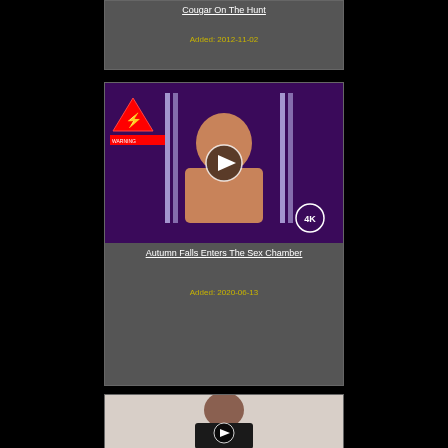Cougar On The Hunt
Added: 2012-11-02
[Figure (screenshot): Video thumbnail with play button for Autumn Falls Enters The Sex Chamber]
Autumn Falls Enters The Sex Chamber
Added: 2020-06-13
[Figure (screenshot): Video thumbnail with play button, third card]